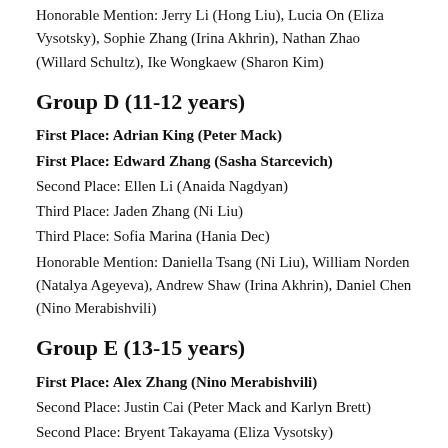Honorable Mention: Jerry Li (Hong Liu), Lucia On (Eliza Vysotsky), Sophie Zhang (Irina Akhrin), Nathan Zhao (Willard Schultz), Ike Wongkaew (Sharon Kim)
Group D (11-12 years)
First Place: Adrian King (Peter Mack)
First Place: Edward Zhang (Sasha Starcevich)
Second Place: Ellen Li (Anaida Nagdyan)
Third Place: Jaden Zhang (Ni Liu)
Third Place: Sofia Marina (Hania Dec)
Honorable Mention: Daniella Tsang (Ni Liu), William Norden (Natalya Ageyeva), Andrew Shaw (Irina Akhrin), Daniel Chen (Nino Merabishvili)
Group E (13-15 years)
First Place: Alex Zhang (Nino Merabishvili)
Second Place: Justin Cai (Peter Mack and Karlyn Brett)
Second Place: Bryent Takayama (Eliza Vysotsky)
Third Place: Sophia Chiang (Anastasia Solomatina)